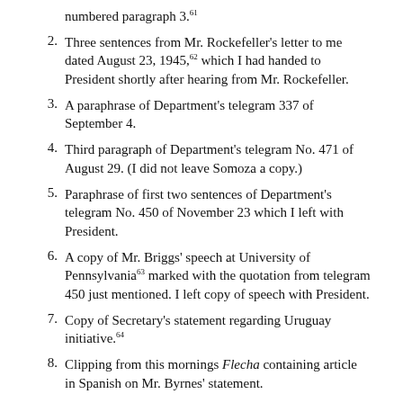numbered paragraph 3.61
2. Three sentences from Mr. Rockefeller's letter to me dated August 23, 1945,62 which I had handed to President shortly after hearing from Mr. Rockefeller.
3. A paraphrase of Department's telegram 337 of September 4.
4. Third paragraph of Department's telegram No. 471 of August 29. (I did not leave Somoza a copy.)
5. Paraphrase of first two sentences of Department's telegram No. 450 of November 23 which I left with President.
6. A copy of Mr. Briggs' speech at University of Pennsylvania63 marked with the quotation from telegram 450 just mentioned. I left copy of speech with President.
7. Copy of Secretary's statement regarding Uruguay initiative.64
8. Clipping from this mornings Flecha containing article in Spanish on Mr. Byrnes' statement.
The President read the papers in order given. When he got through reading marked portions of Mr. Briggs' speech he